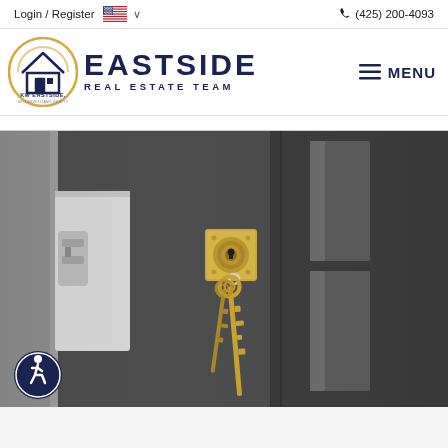Login / Register   🇺🇸 ∨        📞 (425) 200-4093
[Figure (logo): KW Eastside Keller Williams Realty logo with house icon, alongside EASTSIDE REAL ESTATE TEAM text in navy blue, and MENU hamburger button on the right]
[Figure (photo): Close-up photograph of a door lock/deadbolt in brass/gold color with two keys hanging from the keyhole, against a dark charcoal/black door frame]